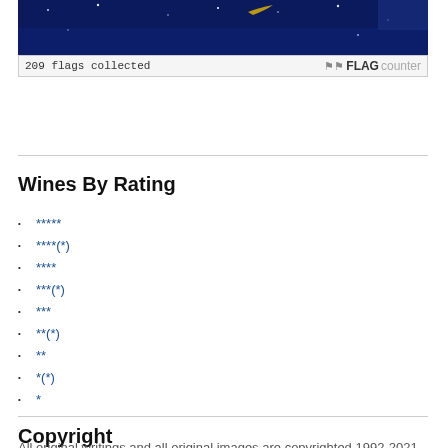[Figure (screenshot): Flag counter banner showing a dark blue night sky image with '209 flags collected' text and FLAG counter logo]
Wines By Rating
*****
****(*)
****
***(*)
***
**(*)
**
*(*)
*
Copyright
All original writings and all original images are copyrighted 1992-2021